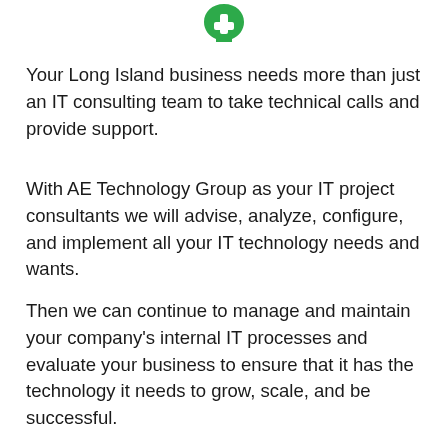[Figure (logo): Green logo icon at top center of page]
Your Long Island business needs more than just an IT consulting team to take technical calls and provide support.
With AE Technology Group as your IT project consultants we will advise, analyze, configure, and implement all your IT technology needs and wants.
Then we can continue to manage and maintain your company’s internal IT processes and evaluate your business to ensure that it has the technology it needs to grow, scale, and be successful.